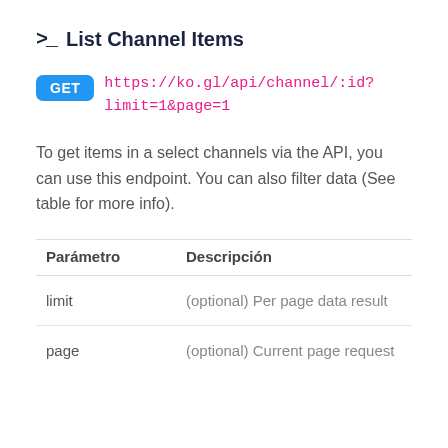>_ List Channel Items
GET https://ko.gl/api/channel/:id?limit=1&page=1
To get items in a select channels via the API, you can use this endpoint. You can also filter data (See table for more info).
| Parámetro | Descripción |
| --- | --- |
| limit | (optional) Per page data result |
| page | (optional) Current page request |